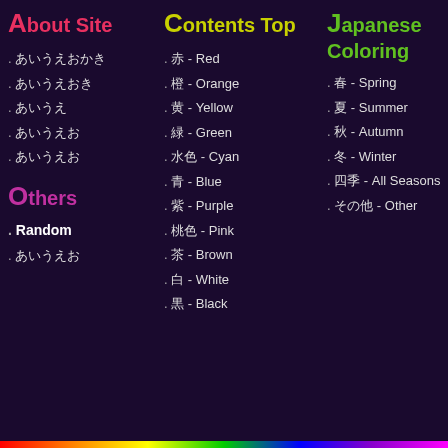About Site
日本語テキスト
日本語テキスト
日本語テキスト
日本語テキスト
日本語テキスト
Others
Random
日本語テキスト
Contents Top
赤 - Red
橙 - Orange
黄 - Yellow
緑 - Green
水色 - Cyan
青 - Blue
紫 - Purple
桃色 - Pink
茶 - Brown
白 - White
黒 - Black
Japanese Coloring
春 - Spring
夏 - Summer
秋 - Autumn
冬 - Winter
四季 - All Seasons
その他 - Other